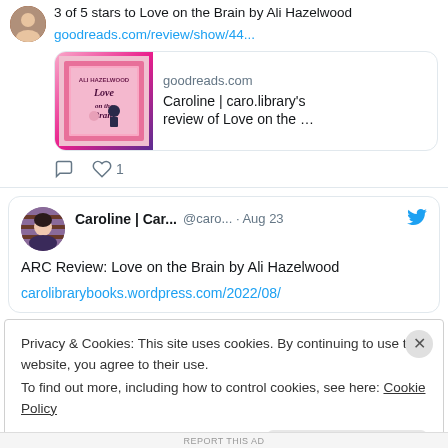3 of 5 stars to Love on the Brain by Ali Hazelwood goodreads.com/review/show/44...
[Figure (screenshot): Goodreads link card showing book cover of 'Love on the Brain' by Ali Hazelwood with text: goodreads.com | Caroline | caro.library's review of Love on the ...]
Caroline | Car... @caro... · Aug 23  ARC Review: Love on the Brain by Ali Hazelwood carolibrarybooks.wordpress.com/2022/08/
Privacy & Cookies: This site uses cookies. By continuing to use this website, you agree to their use. To find out more, including how to control cookies, see here: Cookie Policy
Close and accept
REPORT THIS AD